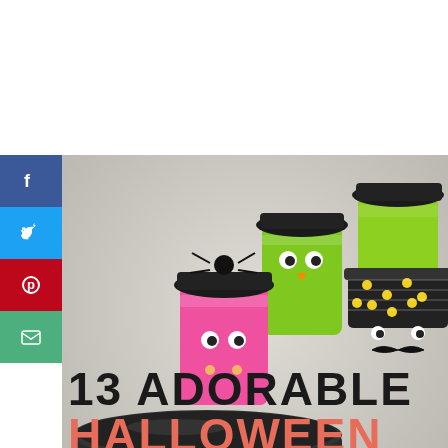[Figure (photo): Photo of decorated mason jars dressed as cute Halloween characters — a pink fuzzy owl, a green owl, and a green jar with mustache and polka-dot hat, with a large dark lid jar in the foreground. Social sharing sidebar on the left with Facebook, Twitter, Pinterest, and Email buttons.]
13 ADORABLE HALLOWEEN